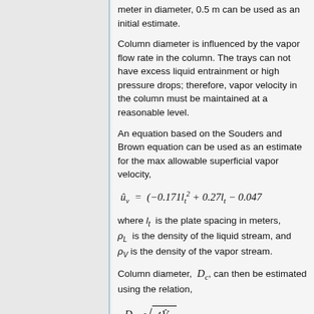meter in diameter, 0.5 m can be used as an initial estimate.
Column diameter is influenced by the vapor flow rate in the column. The trays can not have excess liquid entrainment or high pressure drops; therefore, vapor velocity in the column must be maintained at a reasonable level.
An equation based on the Souders and Brown equation can be used as an estimate for the max allowable superficial vapor velocity,
where l_t is the plate spacing in meters, ρ_L is the density of the liquid stream, and ρ_V is the density of the vapor stream.
Column diameter, D_c, can then be estimated using the relation,